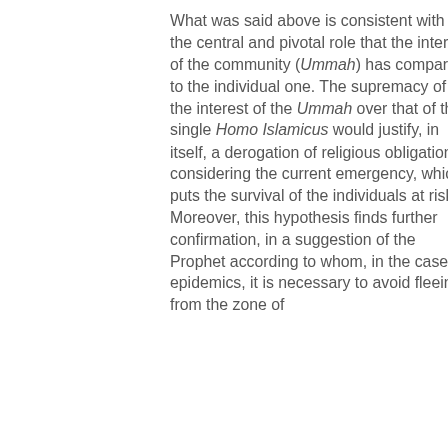What was said above is consistent with the central and pivotal role that the interest of the community (Ummah) has compared to the individual one. The supremacy of the interest of the Ummah over that of the single Homo Islamicus would justify, in itself, a derogation of religious obligations, considering the current emergency, which puts the survival of the individuals at risk. Moreover, this hypothesis finds further confirmation, in a suggestion of the Prophet according to whom, in the case of epidemics, it is necessary to avoid fleeing from the zone of